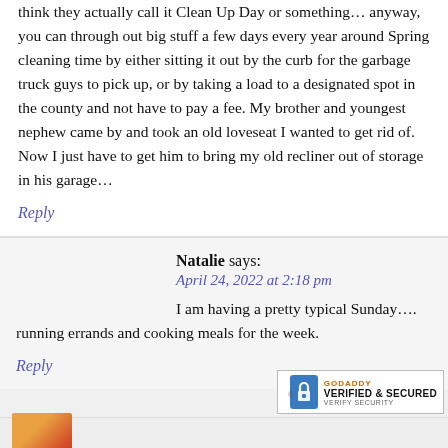think they actually call it Clean Up Day or something… anyway, you can through out big stuff a few days every year around Spring cleaning time by either sitting it out by the curb for the garbage truck guys to pick up, or by taking a load to a designated spot in the county and not have to pay a fee. My brother and youngest nephew came by and took an old loveseat I wanted to get rid of. Now I just have to get him to bring my old recliner out of storage in his garage…
Reply
Natalie says: April 24, 2022 at 2:18 pm
I am having a pretty typical Sunday…. running errands and cooking meals for the week.
Reply
[Figure (logo): GoDaddy Verified & Secured badge with lock icon]
[Figure (photo): Partial avatar image at bottom left, orange and red tones]